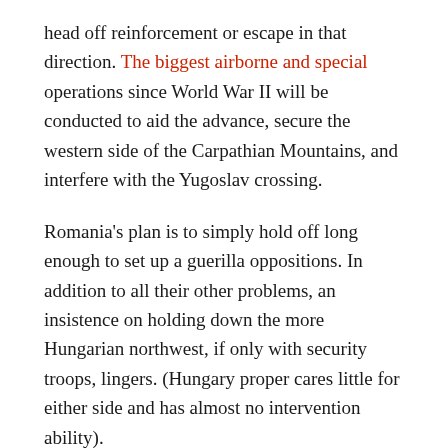head off reinforcement or escape in that direction. The biggest airborne and special operations since World War II will be conducted to aid the advance, secure the western side of the Carpathian Mountains, and interfere with the Yugoslav crossing.
Romania's plan is to simply hold off long enough to set up a guerilla oppositions. In addition to all their other problems, an insistence on holding down the more Hungarian northwest, if only with security troops, lingers. (Hungary proper cares little for either side and has almost no intervention ability).
The Outcome and the Story